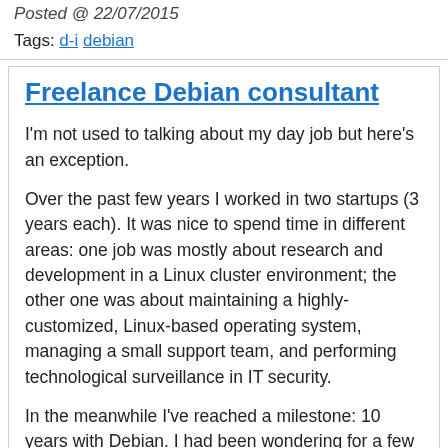Posted @ 22/07/2015
Tags: d-i debian
Freelance Debian consultant
I'm not used to talking about my day job but here's an exception.
Over the past few years I worked in two startups (3 years each). It was nice to spend time in different areas: one job was mostly about research and development in a Linux cluster environment; the other one was about maintaining a highly-customized, Linux-based operating system, managing a small support team, and performing technological surveillance in IT security.
In the meanwhile I've reached a milestone: 10 years with Debian. I had been wondering for a few months whether I could try my luck going freelance, becoming a Debian consultant. I finally decided to go ahead and started in August!
The idea is to lend a hand for various Debian-related things like systems administration,